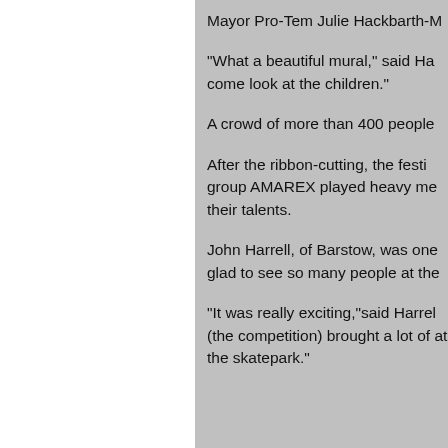Mayor Pro-Tem Julie Hackbarth-M
"What a beautiful mural," said Ha come look at the children."
A crowd of more than 400 people
After the ribbon-cutting, the festi group AMAREX played heavy me their talents.
John Harrell, of Barstow, was one glad to see so many people at the
"It was really exciting,"said Harrel (the competition) brought a lot of at the skatepark."